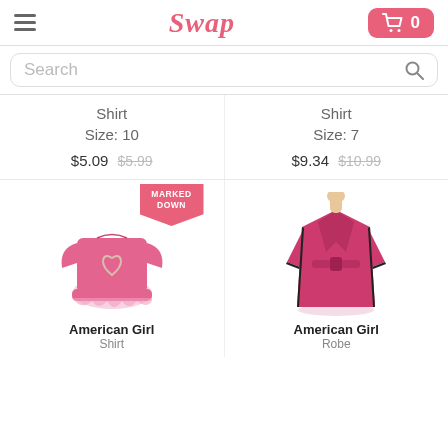Swap — navigation header with hamburger menu, logo, and cart (0 items)
Search
Shirt
Size: 10
$5.09 $5.99
Shirt
Size: 7
$9.34 $10.99
[Figure (photo): Pink American Girl shirt with heart design and ruffle hem, with a 'Marked Down' badge]
American Girl
Shirt
[Figure (photo): Magenta/pink American Girl robe with black trim on a mannequin]
American Girl
Robe